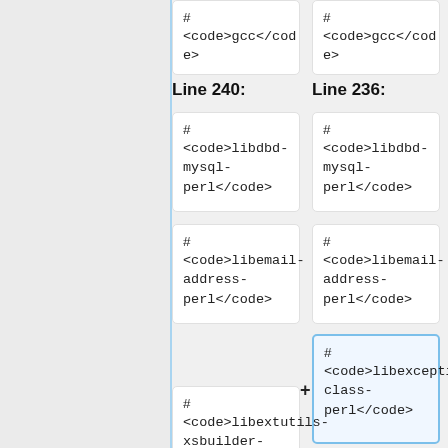# <code>gcc</code>
# <code>gcc</code>
Line 240:
Line 236:
# <code>libdbd-mysql-perl</code>
# <code>libdbd-mysql-perl</code>
# <code>libemail-address-perl</code>
# <code>libemail-address-perl</code>
# <code>libexception-class-perl</code>
# <code>libextutils-xsbuilder-perl</code>
# <code>libextutils-xsbuilder-perl</code>